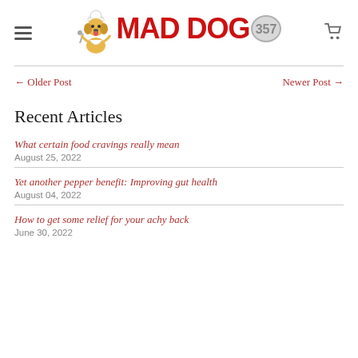MAD DOG 357 — site header with logo, hamburger menu, and cart icon
← Older Post
Newer Post →
Recent Articles
What certain food cravings really mean
August 25, 2022
Yet another pepper benefit: Improving gut health
August 04, 2022
How to get some relief for your achy back
June 30, 2022